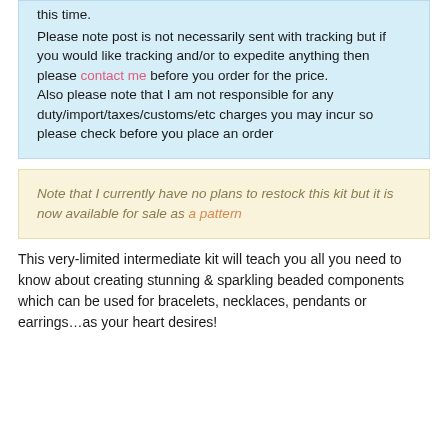this time. Please note post is not necessarily sent with tracking but if you would like tracking and/or to expedite anything then please contact me before you order for the price. Also please note that I am not responsible for any duty/import/taxes/customs/etc charges you may incur so please check before you place an order
Note that I currently have no plans to restock this kit but it is now available for sale as a pattern
This very-limited intermediate kit will teach you all you need to know about creating stunning & sparkling beaded components which can be used for bracelets, necklaces, pendants or earrings...as your heart desires!